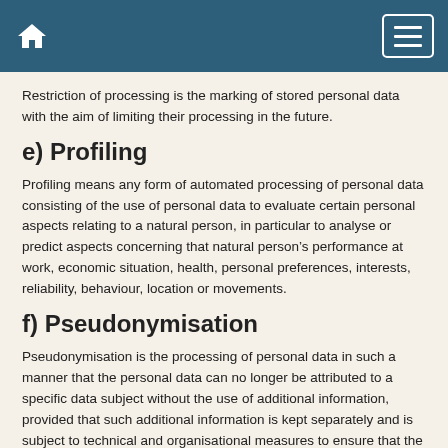Restriction of processing is the marking of stored personal data with the aim of limiting their processing in the future.
e) Profiling
Profiling means any form of automated processing of personal data consisting of the use of personal data to evaluate certain personal aspects relating to a natural person, in particular to analyse or predict aspects concerning that natural person’s performance at work, economic situation, health, personal preferences, interests, reliability, behaviour, location or movements.
f) Pseudonymisation
Pseudonymisation is the processing of personal data in such a manner that the personal data can no longer be attributed to a specific data subject without the use of additional information, provided that such additional information is kept separately and is subject to technical and organisational measures to ensure that the personal data are not attributed to an identified or identifiable natural person.